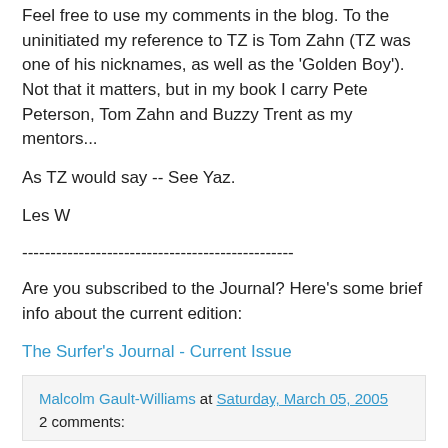Feel free to use my comments in the blog. To the uninitiated my reference to TZ is Tom Zahn (TZ was one of his nicknames, as well as the 'Golden Boy'). Not that it matters, but in my book I carry Pete Peterson, Tom Zahn and Buzzy Trent as my mentors...
As TZ would say -- See Yaz.
Les W
------------------------------------------------
Are you subscribed to the Journal? Here's some brief info about the current edition:
The Surfer's Journal - Current Issue
Malcolm Gault-Williams at Saturday, March 05, 2005
2 comments: